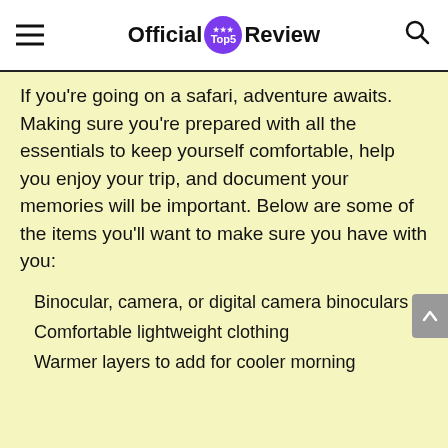Official Top5 Review
If you're going on a safari, adventure awaits. Making sure you're prepared with all the essentials to keep yourself comfortable, help you enjoy your trip, and document your memories will be important. Below are some of the items you'll want to make sure you have with you:
Binocular, camera, or digital camera binoculars
Comfortable lightweight clothing
Warmer layers to add for cooler morning